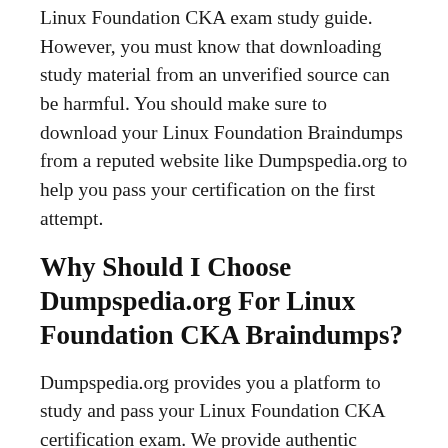Linux Foundation CKA exam study guide. However, you must know that downloading study material from an unverified source can be harmful. You should make sure to download your Linux Foundation Braindumps from a reputed website like Dumpspedia.org to help you pass your certification on the first attempt.
Why Should I Choose Dumpspedia.org For Linux Foundation CKA Braindumps?
Dumpspedia.org provides you a platform to study and pass your Linux Foundation CKA certification exam. We provide authentic Linux Foundation exam questions to help candidates prepare for their Linux Foundation certifications efficiently. All our Linux Foundation exam questions are